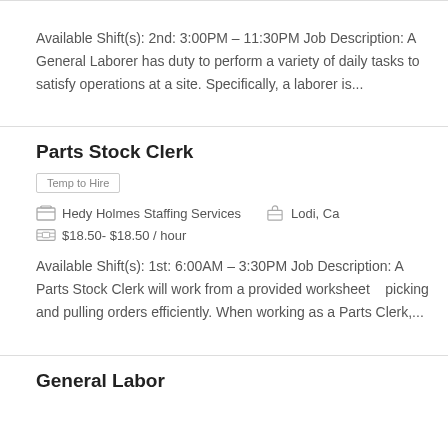Available Shift(s): 2nd: 3:00PM – 11:30PM Job Description: A General Laborer has duty to perform a variety of daily tasks to satisfy operations at a site. Specifically, a laborer is...
Parts Stock Clerk
Temp to Hire
Hedy Holmes Staffing Services   Lodi, Ca
$18.50- $18.50 / hour
Available Shift(s): 1st: 6:00AM – 3:30PM Job Description: A Parts Stock Clerk will work from a provided worksheet   picking and pulling orders efficiently. When working as a Parts Clerk,...
General Labor